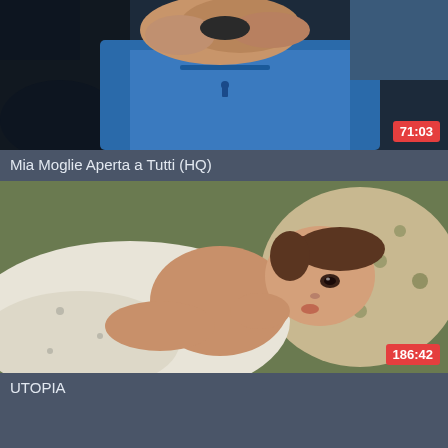[Figure (screenshot): Video thumbnail showing hands and person in blue shirt, with duration badge 71:03]
Mia Moglie Aperta a Tutti (HQ)
[Figure (screenshot): Video thumbnail showing person lying down on floral pillow/bedding, with duration badge 186:42]
UTOPIA